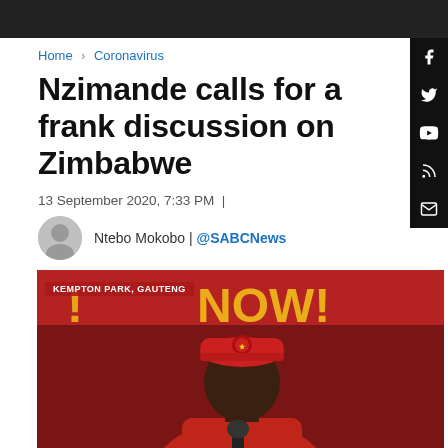Home > Coronavirus
Nzimande calls for a frank discussion on Zimbabwe
13 September 2020, 7:33 PM  |
Ntebo Mokobo | @SABCNews
[Figure (photo): Man wearing red jacket and red cap with badge, speaking at podium. Text overlay 'KEMPTON PARK, GAUTENG' in red banner at top left. Background shows red banner with 'NOW!' text in yellow.]